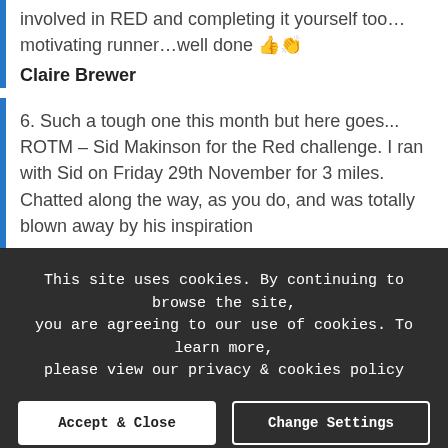involved in RED and completing it yourself too…motivating runner…well done 👍👏
Claire Brewer
6. Such a tough one this month but here goes...
ROTM – Sid Makinson for the Red challenge. I ran with Sid on Friday 29th November for 3 miles. Chatted along the way, as you do, and was totally blown away by his inspiration...
This site uses cookies. By continuing to browse the site, you are agreeing to our use of cookies. To learn more, please view our privacy & cookies policy
Accept & Close
Change Settings
Learn More